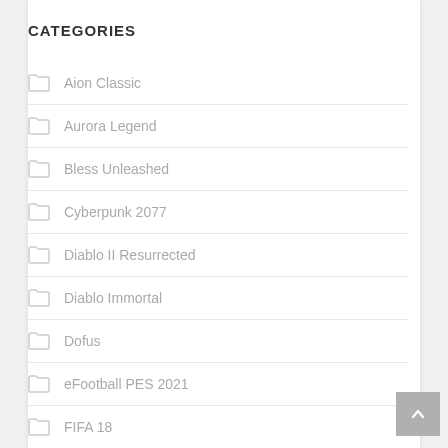CATEGORIES
Aion Classic
Aurora Legend
Bless Unleashed
Cyberpunk 2077
Diablo II Resurrected
Diablo Immortal
Dofus
eFootball PES 2021
FIFA 18
fifa 22